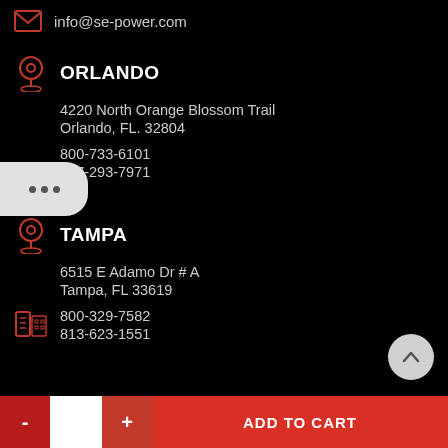info@se-power.com
ORLANDO
4220 North Orange Blossom Trail
Orlando, FL. 32804
800-733-6101
407-293-7971
TAMPA
6515 E Adamo Dr # A
Tampa, FL 33619
800-329-7582
813-623-1551
ADD TO CART